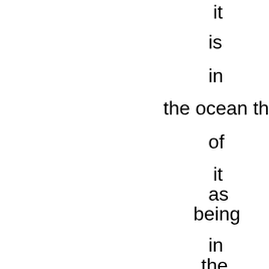it
is
in
the ocean think
of
it
as
being
in
the